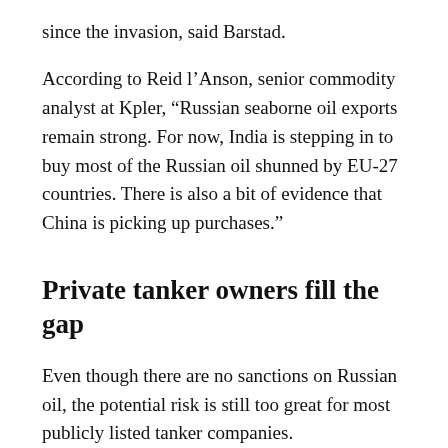since the invasion, said Barstad.
According to Reid l'Anson, senior commodity analyst at Kpler, “Russian seaborne oil exports remain strong. For now, India is stepping in to buy most of the Russian oil shunned by EU-27 countries. There is also a bit of evidence that China is picking up purchases.”
Private tanker owners fill the gap
Even though there are no sanctions on Russian oil, the potential risk is still too great for most publicly listed tanker companies.